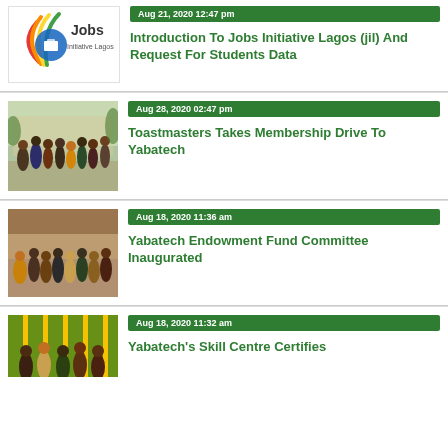[Figure (logo): Jobs Initiative Lagos logo with colorful bird/flame design around a briefcase icon]
Aug 21, 2020 12:47 pm
Introduction To Jobs Initiative Lagos (jil) And Request For Students Data
[Figure (photo): Group photo of people standing outdoors in front of a building]
Aug 28, 2020 02:47 pm
Toastmasters Takes Membership Drive To Yabatech
[Figure (photo): Group photo of people standing indoors in a conference/meeting room]
Aug 18, 2020 11:36 am
Yabatech Endowment Fund Committee Inaugurated
[Figure (photo): Group photo of people at an event with colorful fabric backdrop]
Aug 18, 2020 11:32 am
Yabatech's Skill Centre Certifies